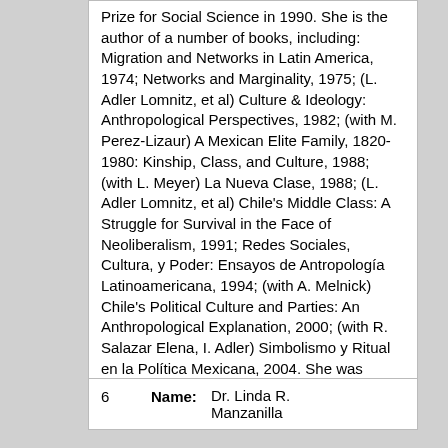Prize for Social Science in 1990. She is the author of a number of books, including: Migration and Networks in Latin America, 1974; Networks and Marginality, 1975; (L. Adler Lomnitz, et al) Culture & Ideology: Anthropological Perspectives, 1982; (with M. Perez-Lizaur) A Mexican Elite Family, 1820-1980: Kinship, Class, and Culture, 1988; (with L. Meyer) La Nueva Clase, 1988; (L. Adler Lomnitz, et al) Chile's Middle Class: A Struggle for Survival in the Face of Neoliberalism, 1991; Redes Sociales, Cultura, y Poder: Ensayos de Antropología Latinoamericana, 1994; (with A. Melnick) Chile's Political Culture and Parties: An Anthropological Explanation, 2000; (with R. Salazar Elena, I. Adler) Simbolismo y Ritual en la Política Mexicana, 2004. She was elected a member of the American Philosophical Society in 2011.
6   Name: Dr. Linda R. Manzanilla